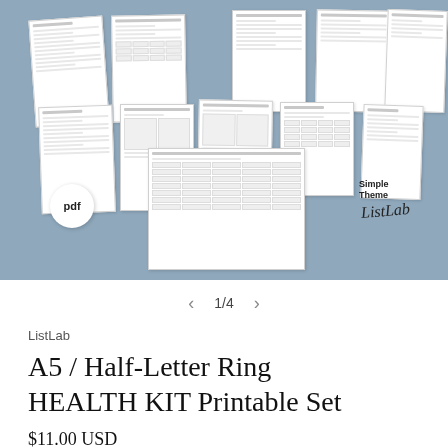[Figure (photo): Product listing image showing a collage of health kit printable PDF pages fanned out on a steel blue background, with a circular 'pdf' badge and 'Simple Theme ListLab' branding in the bottom corners]
1/4
ListLab
A5 / Half-Letter Ring HEALTH KIT Printable Set
$11.00 USD